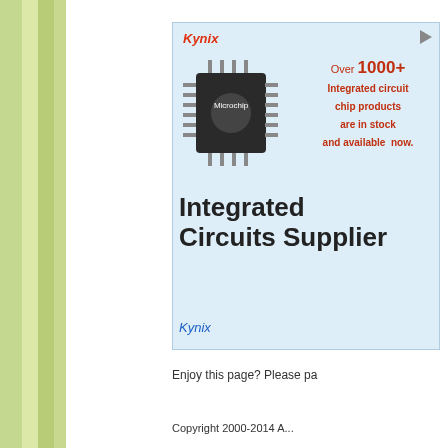[Figure (advertisement): Kynix advertisement banner showing an integrated circuit chip with text 'Over 1000+ Integrated circuit chip products are in stock and available now.' and large bold text 'Integrated Circuits Supplier' with Kynix branding in italic red and blue.]
Enjoy this page? Please pa
Copyright 2000-2014 A...